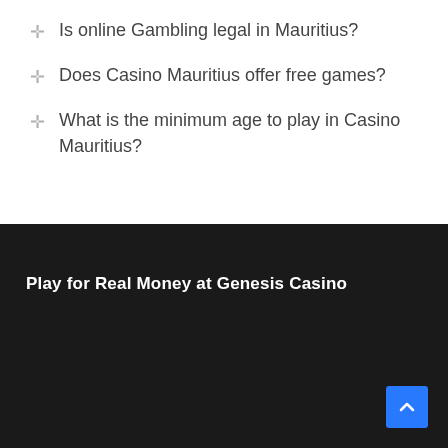Is online Gambling legal in Mauritius?
Does Casino Mauritius offer free games?
What is the minimum age to play in Casino Mauritius?
Play for Real Money at Genesis Casino